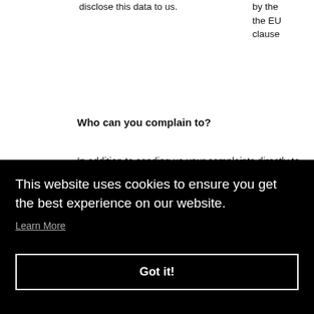disclose this data to us.
by the the EU clause
Who can you complain to?
In addition to sending us your complaints directly to dataprotection@sandbaguk.com, you can send complaints to our supervisory authority. As SANDBAG LIMITED predominantly handles the personal data of UK nationals, our supervisory authority is the Information
ur s y.
This website uses cookies to ensure you get the best experience on our website.
Learn More
Got it!